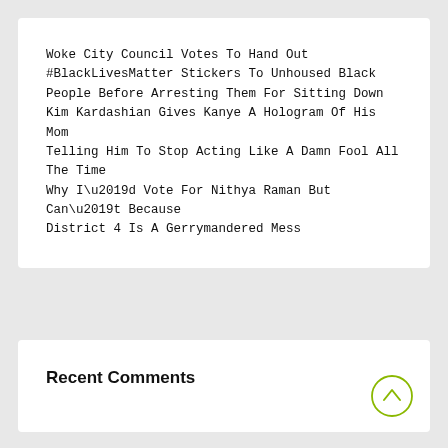Woke City Council Votes To Hand Out #BlackLivesMatter Stickers To Unhoused Black People Before Arresting Them For Sitting Down
Kim Kardashian Gives Kanye A Hologram Of His Mom Telling Him To Stop Acting Like A Damn Fool All The Time
Why I’d Vote For Nithya Raman But Can’t Because District 4 Is A Gerrymandered Mess
Recent Comments